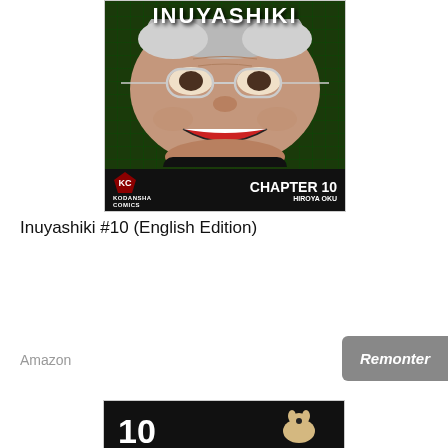[Figure (illustration): Book cover of Inuyashiki Chapter 10, Kodansha Comics manga. Shows a close-up of an elderly man's face with glasses, smiling widely, against a green digital grid background. Bottom bar shows KC/Kodansha Comics logo on left and 'CHAPTER 10 / HIROYA OKU' text on right. Title 'INUYASHIKI' at top.]
Inuyashiki #10 (English Edition)
Amazon
Remonter
[Figure (illustration): Partial bottom view of another book cover showing the number 10 and what appears to be a small cat or animal figure, on a dark background.]